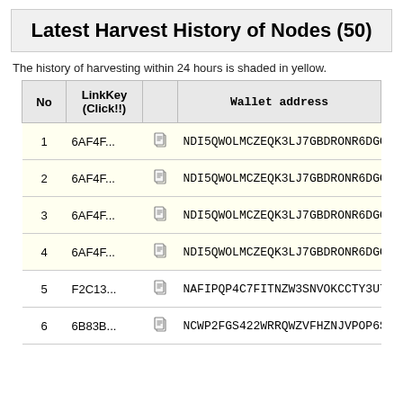Latest Harvest History of Nodes (50)
The history of harvesting within 24 hours is shaded in yellow.
| No | LinkKey (Click!!) |  | Wallet address |
| --- | --- | --- | --- |
| 1 | 6AF4F... |  | NDI5QWOLMCZEQK3LJ7GBDRONR6DGOIHNL... |
| 2 | 6AF4F... |  | NDI5QWOLMCZEQK3LJ7GBDRONR6DGOIHNL... |
| 3 | 6AF4F... |  | NDI5QWOLMCZEQK3LJ7GBDRONR6DGOIHNL... |
| 4 | 6AF4F... |  | NDI5QWOLMCZEQK3LJ7GBDRONR6DGOIHNL... |
| 5 | F2C13... |  | NAFIPQP4C7FITNZW3SNVOKCCTY3U7ISWWW... |
| 6 | 6B83B... |  | NCWP2FGS422WRRQWZVFHZNJVPOP6SXU6P... |